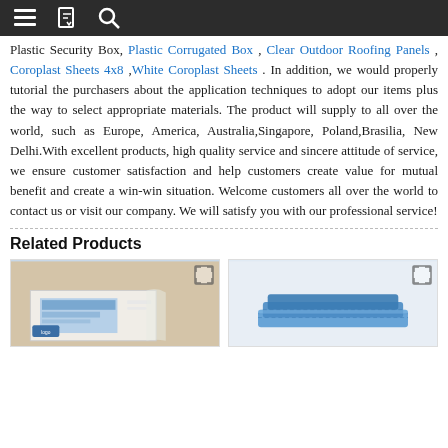Navigation bar with menu, bookmark, and search icons
Plastic Security Box, Plastic Corrugated Box , Clear Outdoor Roofing Panels , Coroplast Sheets 4x8 ,White Coroplast Sheets . In addition, we would properly tutorial the purchasers about the application techniques to adopt our items plus the way to select appropriate materials. The product will supply to all over the world, such as Europe, America, Australia,Singapore, Poland,Brasilia, New Delhi.With excellent products, high quality service and sincere attitude of service, we ensure customer satisfaction and help customers create value for mutual benefit and create a win-win situation. Welcome customers all over the world to contact us or visit our company. We will satisfy you with our professional service!
Related Products
[Figure (photo): Product photo showing a white corrugated plastic box with blue printed labels and packaging]
[Figure (photo): Product photo showing blue plastic corrugated items]